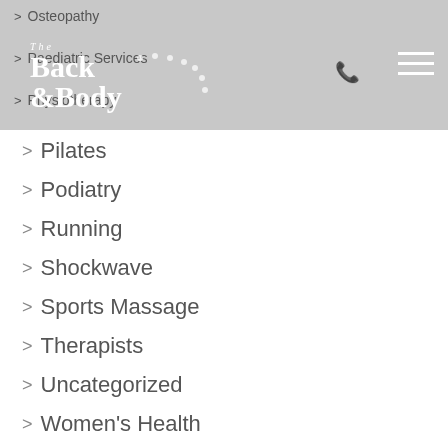[Figure (logo): The Back & Body logo with decorative dots, on grey header background with phone icon and hamburger menu icon]
> Osteopathy
> Paediatric Services
> Physiotherapy
> Pilates
> Podiatry
> Running
> Shockwave
> Sports Massage
> Therapists
> Uncategorized
> Women's Health
> Wootton